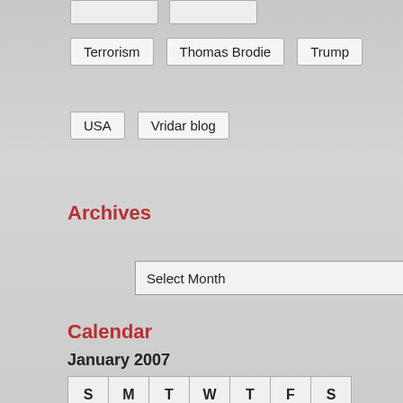Terrorism
Thomas Brodie
Trump
USA
Vridar blog
Archives
Select Month
Calendar
January 2007
| S | M | T | W | T | F | S |
| --- | --- | --- | --- | --- | --- | --- |